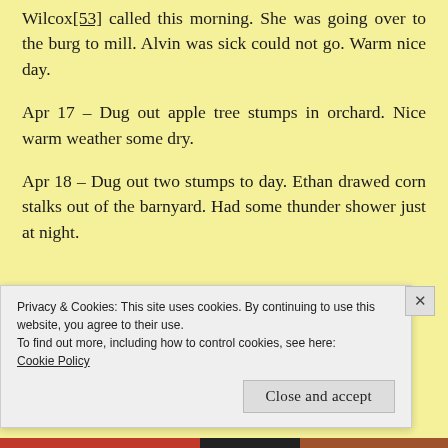Wilcox[53] called this morning. She was going over to the burg to mill. Alvin was sick could not go. Warm nice day.
Apr 17 – Dug out apple tree stumps in orchard. Nice warm weather some dry.
Apr 18 – Dug out two stumps to day. Ethan drawed corn stalks out of the barnyard. Had some thunder shower just at night.
Privacy & Cookies: This site uses cookies. By continuing to use this website, you agree to their use.
To find out more, including how to control cookies, see here:
Cookie Policy